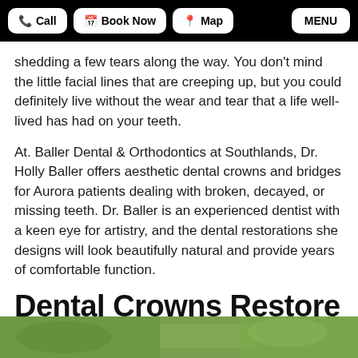Call | Book Now | Map | MENU
shedding a few tears along the way. You don't mind the little facial lines that are creeping up, but you could definitely live without the wear and tear that a life well-lived has had on your teeth.
At. Baller Dental & Orthodontics at Southlands, Dr. Holly Baller offers aesthetic dental crowns and bridges for Aurora patients dealing with broken, decayed, or missing teeth. Dr. Baller is an experienced dentist with a keen eye for artistry, and the dental restorations she designs will look beautifully natural and provide years of comfortable function.
Dental Crowns Restore Function and Beauty
[Figure (photo): Bottom strip showing a green leafy background photo, partially visible at the bottom of the page.]